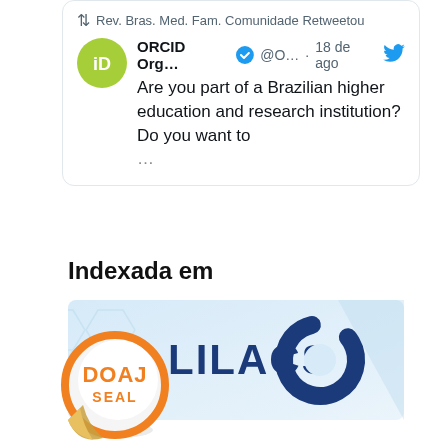[Figure (screenshot): Tweet card showing a retweet by Rev. Bras. Med. Fam. Comunidade of an ORCID Org tweet from 18 de ago about Brazilian higher education institutions. The tweet reads: Are you part of a Brazilian higher education and research institution? Do you want to... (truncated). Includes ORCID logo, verified badge, and Twitter bird icon.]
Indexada em
[Figure (logo): LILACS database logo — blue text 'LILACS' with a blue spiral/ring logo on a light blue honeycomb-patterned background]
[Figure (logo): DOAJ Seal badge — circular orange and white sticker-style badge with text 'DOAJ SEAL']